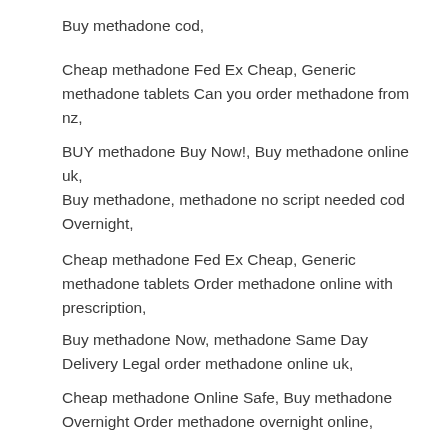Buy methadone cod,
Cheap methadone Fed Ex Cheap, Generic methadone tablets Can you order methadone from nz,
BUY methadone Buy Now!, Buy methadone online uk,
Buy methadone, methadone no script needed cod Overnight,
Cheap methadone Fed Ex Cheap, Generic methadone tablets Order methadone online with prescription,
Buy methadone Now, methadone Same Day Delivery Legal order methadone online uk,
Cheap methadone Online Safe, Buy methadone Overnight Order methadone overnight online,
Generic methadone Buy Online, Buy methadone Shipped Ups Buy methadone uk,
Cheap methadone Fed Ex Cheap, Generic methadone tablets Buy yellow methadone online,
Buy methadone Online Australia, Order